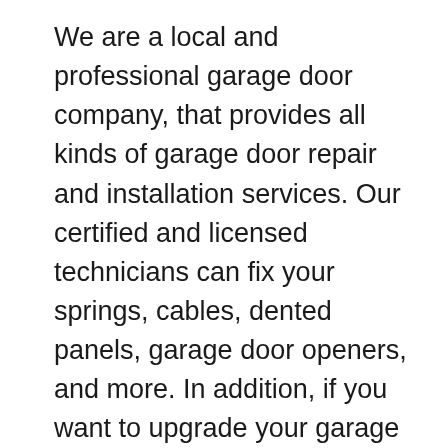We are a local and professional garage door company, that provides all kinds of garage door repair and installation services. Our certified and licensed technicians can fix your springs, cables, dented panels, garage door openers, and more. In addition, if you want to upgrade your garage door, we can come over to give you an estimate and eventually install a new garge door. We work with the top brands on the market in order to ensure our clients get the best available products. We are open 7 days a week, so you can call our office any day of the week to schedule an appointment. We will do our best to come out the same day so that you'll have your garage door up and running again in